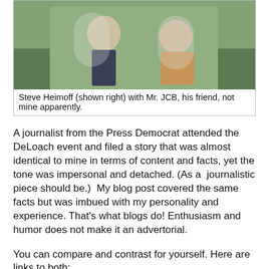[Figure (photo): Two people sitting on white chairs outdoors, one in a dark suit and one in a colorful floral top]
Steve Heimoff (shown right) with Mr. JCB, his friend, not mine apparently.
A journalist from the Press Democrat attended the DeLoach event and filed a story that was almost identical to mine in terms of content and facts, yet the tone was impersonal and detached. (As a  journalistic piece should be.)  My blog post covered the same facts but was imbued with my personality and experience. That's what blogs do! Enthusiasm and humor does not make it an advertorial.
You can compare and contrast for yourself. Here are links to both:
Press Democrat—DeLoach
Come For the Wine—DeLoach
I think perhaps Steve failed to consider who my audience is and may not comprehend that my readers understand